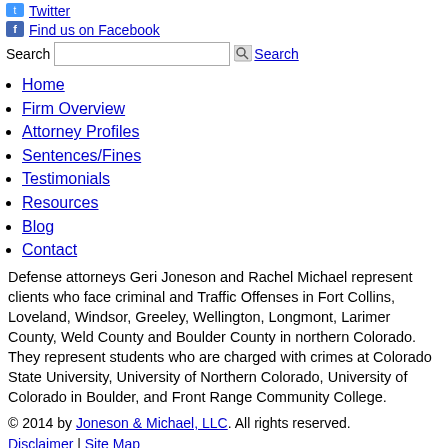Twitter
Find us on Facebook
Search [input] Search
Home
Firm Overview
Attorney Profiles
Sentences/Fines
Testimonials
Resources
Blog
Contact
Defense attorneys Geri Joneson and Rachel Michael represent clients who face criminal and Traffic Offenses in Fort Collins, Loveland, Windsor, Greeley, Wellington, Longmont, Larimer County, Weld County and Boulder County in northern Colorado. They represent students who are charged with crimes at Colorado State University, University of Northern Colorado, University of Colorado in Boulder, and Front Range Community College.
© 2014 by Joneson & Michael, LLC. All rights reserved. Disclaimer | Site Map
Privacy Policy | Law Firm Marketing by FindLaw, a Thomson